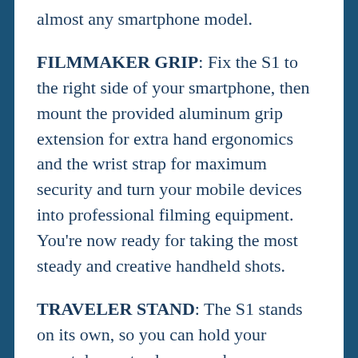almost any smartphone model.
FILMMAKER GRIP: Fix the S1 to the right side of your smartphone, then mount the provided aluminum grip extension for extra hand ergonomics and the wrist strap for maximum security and turn your mobile devices into professional filming equipment. You're now ready for taking the most steady and creative handheld shots.
TRAVELER STAND: The S1 stands on its own, so you can hold your smartphone steady even when you